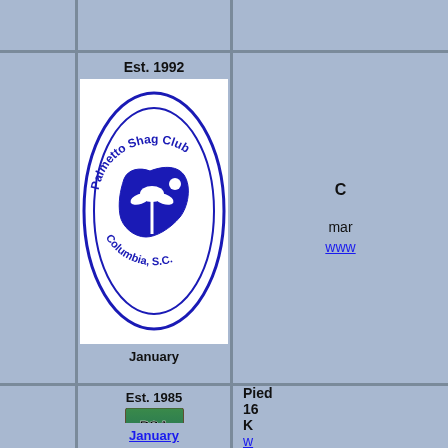[Figure (logo): Palmetto Shag Club Columbia S.C. oval logo with South Carolina state silhouette]
Est. 1992
January
mar
www
[Figure (logo): PSA Piedmont Shag Assoc. logo with waves]
Est. 1985
January
Pied
16
K
w